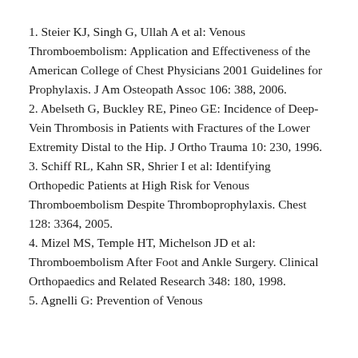1. Steier KJ, Singh G, Ullah A et al: Venous Thromboembolism: Application and Effectiveness of the American College of Chest Physicians 2001 Guidelines for Prophylaxis. J Am Osteopath Assoc 106: 388, 2006.
2. Abelseth G, Buckley RE, Pineo GE: Incidence of Deep-Vein Thrombosis in Patients with Fractures of the Lower Extremity Distal to the Hip. J Ortho Trauma 10: 230, 1996.
3. Schiff RL, Kahn SR, Shrier I et al: Identifying Orthopedic Patients at High Risk for Venous Thromboembolism Despite Thromboprophylaxis. Chest 128: 3364, 2005.
4. Mizel MS, Temple HT, Michelson JD et al: Thromboembolism After Foot and Ankle Surgery. Clinical Orthopaedics and Related Research 348: 180, 1998.
5. Agnelli G: Prevention of Venous…